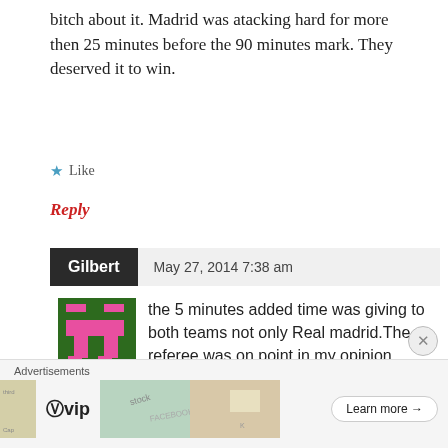bitch about it. Madrid was atacking hard for more then 25 minutes before the 90 minutes mark. They deserved it to win.
★ Like
Reply
Gilbert   May 27, 2014 7:38 am
the 5 minutes added time was giving to both teams not only Real madrid.The referee was on point in my opinion.
Advertisements